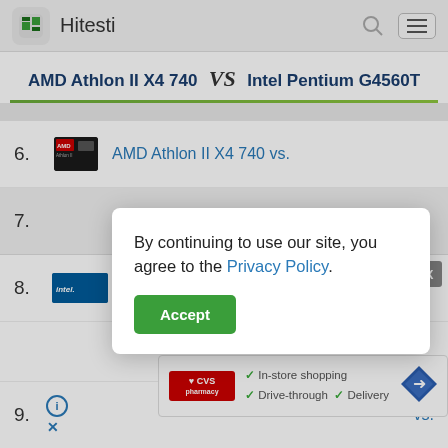Hitesti
AMD Athlon II X4 740 VS Intel Pentium G4560T
6. AMD Athlon II X4 740 vs.
By continuing to use our site, you agree to the Privacy Policy.
Accept
8. Intel Core i5-10210 vs.
In-store shopping  Drive-through  Delivery
9. vs.